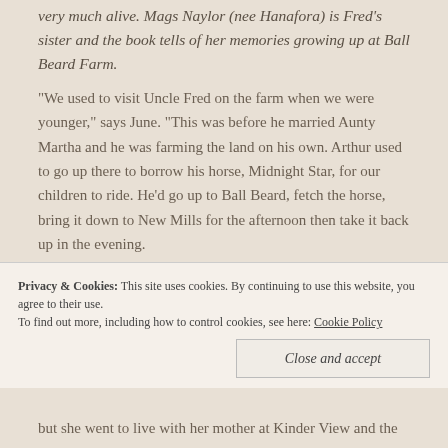very much alive. Mags Naylor (nee Hanafora) is Fred's sister and the book tells of her memories growing up at Ball Beard Farm.
“We used to visit Uncle Fred on the farm when we were younger,” says June. “This was before he married Aunty Martha and he was farming the land on his own. Arthur used to go up there to borrow his horse, Midnight Star, for our children to ride. He’d go up to Ball Beard, fetch the horse, bring it down to New Mills for the afternoon then take it back up in the evening.
“Fred eventually married Martha and they had a little girl,
but she went to live with her mother at Kinder View and the